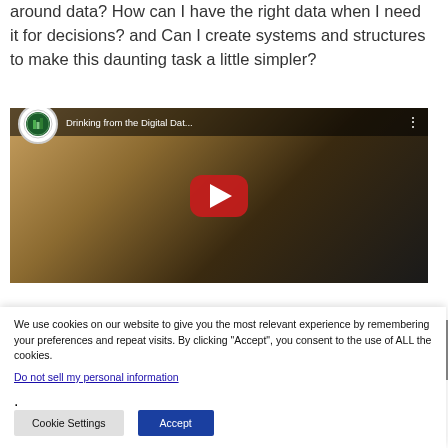around data? How can I have the right data when I need it for decisions? and Can I create systems and structures to make this daunting task a little simpler?
[Figure (screenshot): YouTube video thumbnail titled 'Drinking from the Digital Dat...' with a play button overlay, showing a person in front of curtains]
We use cookies on our website to give you the most relevant experience by remembering your preferences and repeat visits. By clicking "Accept", you consent to the use of ALL the cookies.
Do not sell my personal information.